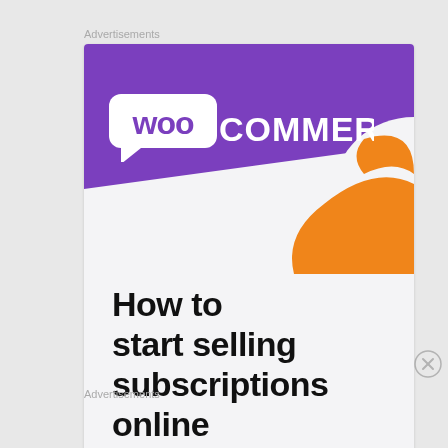Advertisements
[Figure (illustration): WooCommerce advertisement card. Purple banner at top with WooCommerce logo (white speech-bubble icon with 'woo' text and 'COMMERCE' text). Orange decorative shape in lower right of banner. Light grey card body below with bold black text reading 'How to start selling subscriptions online'.]
Advertisements